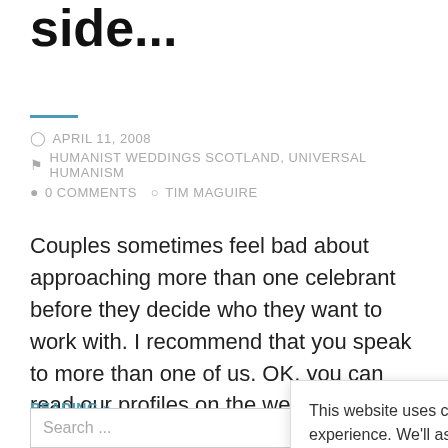side...
APRIL 11, 2008
HUMANIST WEDDINGS SCOTLAND, UNIVERSAL HUMANISM
0 COMMENTS   TIM MAGUIRE
Couples sometimes feel bad about approaching more than one celebrant before they decide who they want to work with. I recommend that you speak to more than one of us. OK, you can read our profiles on the web site don't really hav
READING »
This website uses cookies to improve your experience. We'll assume you're ok with this, but you can opt-out if you wish.   Cookie settings   ACCEPT
Search ...   Search